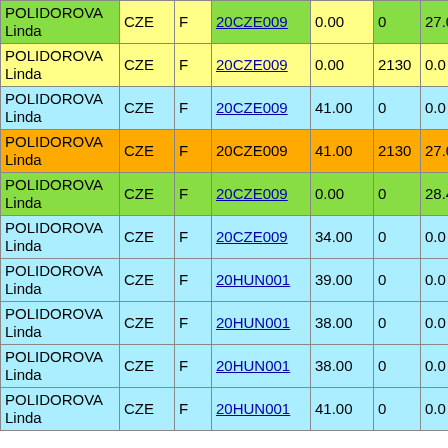| Name | CNT | Sex | Code | V1 | V2 | V3 | V4 |
| --- | --- | --- | --- | --- | --- | --- | --- |
| POLIDOROVA Linda | CZE | F | 20CZE009 | 0.00 | 0 | 27.0 |  |
| POLIDOROVA Linda | CZE | F | 20CZE009 | 0.00 | 2130 | 0.0 |  |
| POLIDOROVA Linda | CZE | F | 20CZE009 | 41.00 | 0 | 0.0 |  |
| POLIDOROVA Linda | CZE | F | 20CZE009 | 41.00 | 2130 | 27.0 | 942.11 |
| POLIDOROVA Linda | CZE | F | 20CZE009 | 0.00 | 0 | 28.4 |  |
| POLIDOROVA Linda | CZE | F | 20CZE009 | 34.00 | 0 | 0.0 |  |
| POLIDOROVA Linda | CZE | F | 20HUN001 | 39.00 | 0 | 0.0 |  |
| POLIDOROVA Linda | CZE | F | 20HUN001 | 38.00 | 0 | 0.0 |  |
| POLIDOROVA Linda | CZE | F | 20HUN001 | 38.00 | 0 | 0.0 |  |
| POLIDOROVA Linda | CZE | F | 20HUN001 | 41.00 | 0 | 0.0 |  |